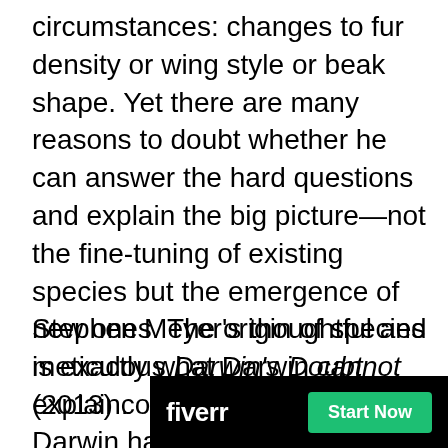circumstances: changes to fur density or wing style or beak shape. Yet there are many reasons to doubt whether he can answer the hard questions and explain the big picture—not the fine-tuning of existing species but the emergence of new ones. The origin of species is exactly what Darwin cannot explain.
Stephen Meyer's thoughtful and meticulous Darwin's Doubt (2013) convinced me that Darwin has failed. He cannot answer the big question. Two other books are also essen[tial:] [The Deniable Darwin and Oth]er Essays (2009), by David Berlinski, and
[Figure (other): Fiverr advertisement banner with black background showing the Fiverr logo in white bold text on the left and a green 'Start Now' button on the right.]